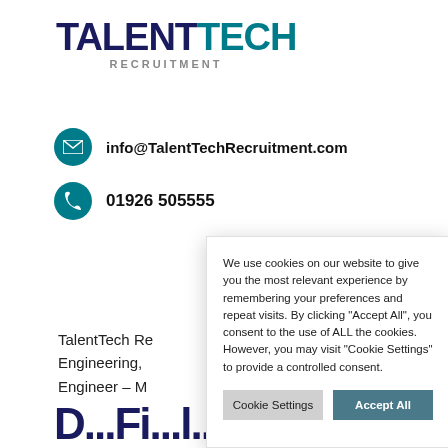[Figure (logo): TalentTech Recruitment logo — TALENT in dark navy, TECH in teal, RECRUITMENT in grey spaced letters below]
info@TalentTechRecruitment.com
01926 505555
[Figure (screenshot): Teal navigation bar with hamburger menu icon]
TalentTech Re... Engineering, ... Engineer – M...
[Figure (screenshot): Cookie consent modal overlay with text: We use cookies on our website to give you the most relevant experience by remembering your preferences and repeat visits. By clicking "Accept All", you consent to the use of ALL the cookies. However, you may visit "Cookie Settings" to provide a controlled consent. Buttons: Cookie Settings | Accept All]
D...Fi...l...